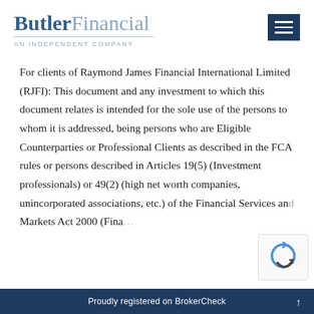[Figure (logo): ButlerFinancial logo with 'AN INDEPENDENT COMPANY' subtitle and hamburger menu button]
For clients of Raymond James Financial International Limited (RJFI): This document and any investment to which this document relates is intended for the sole use of the persons to whom it is addressed, being persons who are Eligible Counterparties or Professional Clients as described in the FCA rules or persons described in Articles 19(5) (Investment professionals) or 49(2) (high net worth companies, unincorporated associations, etc.) of the Financial Services and Markets Act 2000 (Fina...
Proudly registered on BrokerCheck ↑